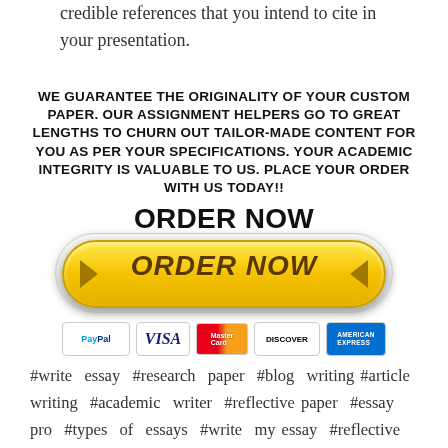credible references that you intend to cite in your presentation.
WE GUARANTEE THE ORIGINALITY OF YOUR CUSTOM PAPER. OUR ASSIGNMENT HELPERS GO TO GREAT LENGTHS TO CHURN OUT TAILOR-MADE CONTENT FOR YOU AS PER YOUR SPECIFICATIONS. YOUR ACADEMIC INTEGRITY IS VALUABLE TO US. PLACE YOUR ORDER WITH US TODAY!! ORDER NOW
[Figure (infographic): Yellow ORDER NOW button with payment icons (PayPal, Visa, MasterCard, Discover, American Express)]
#write essay #research paper #blog writing #article writing #academic writer #reflective paper #essay pro #types of essays #write my essay #reflective essay #paper writer #essay